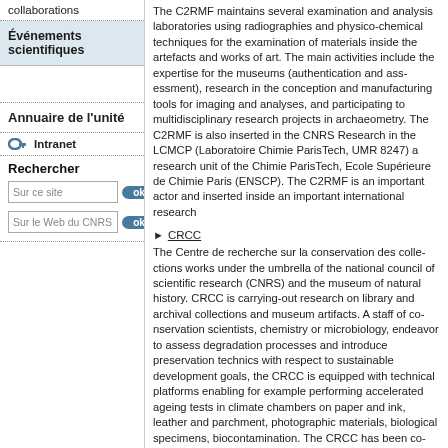collaborations
Événements scientifiques
Annuaire de l'unité
Intranet
Rechercher
The C2RMF maintains several examination and analysis laboratories using radiographies and physico-chemical techniques for the examination of materials inside the artefacts and works of art. The main activities include the expertise for the museums (authentication and assessment), research in the conception and manufacturing tools for imaging and analyses, and participating to multidisciplinary research projects in archaeometry. The C2RMF is also inserted in the CNRS Research in the LCMCP (Laboratoire Chimie ParisTech, UMR 8247) a research unit of the Chimie ParisTech, Ecole Supérieure de Chimie Paris (ENSCP). The C2RMF is an important actor and inserted inside an important international research network.
CRCC
The Centre de recherche sur la conservation des collections works under the umbrella of the national council of scientific research (CNRS) and the museum of natural history. CRCC is carrying-out research on library and archival collections and museum artifacts. A staff of conservation scientists, chemistry or microbiology, endeavor to assess degradation processes and introduce preservation technics with respect to sustainable development goals, the CRCC is equipped with technical platforms enabling for example performing accelerated ageing tests in climate chambers on paper and ink, leather and parchment, photographic materials, biological specimens, biocontamination. The CRCC has been contributing to preventive preservation and plays a role in international research programs partly funded by the Mellon and/or the Getty foundation such as the JVCA project, the Hermitage initiative or the ICCROM training programs. CRCC, LAMS and the Musée de la Musique are constituting all together the USR3224 (ex-USR3224).
LAMS
The CNRS Laboratory of Molecular and Structural Archeology (LAMS) is basically working on two research themes :
the evolution of ancient materials over time in order